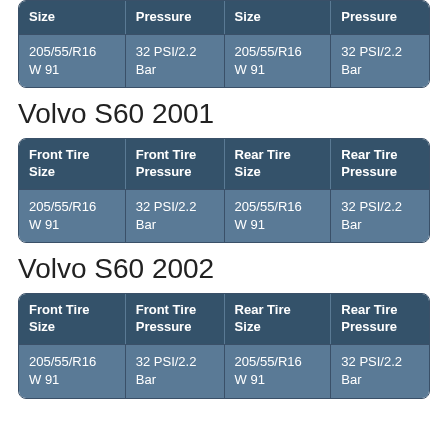| Size | Pressure | Size | Pressure |
| --- | --- | --- | --- |
| 205/55/R16 W 91 | 32 PSI/2.2 Bar | 205/55/R16 W 91 | 32 PSI/2.2 Bar |
Volvo S60 2001
| Front Tire Size | Front Tire Pressure | Rear Tire Size | Rear Tire Pressure |
| --- | --- | --- | --- |
| 205/55/R16 W 91 | 32 PSI/2.2 Bar | 205/55/R16 W 91 | 32 PSI/2.2 Bar |
Volvo S60 2002
| Front Tire Size | Front Tire Pressure | Rear Tire Size | Rear Tire Pressure |
| --- | --- | --- | --- |
| 205/55/R16 W 91 | 32 PSI/2.2 Bar | 205/55/R16 W 91 | 32 PSI/2.2 Bar |